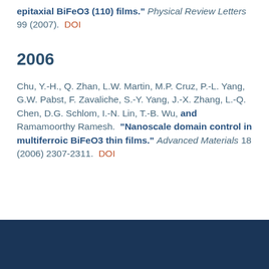epitaxial BiFeO3 (110) films." Physical Review Letters 99 (2007). DOI
2006
Chu, Y.-H., Q. Zhan, L.W. Martin, M.P. Cruz, P.-L. Yang, G.W. Pabst, F. Zavaliche, S.-Y. Yang, J.-X. Zhang, L.-Q. Chen, D.G. Schlom, I.-N. Lin, T.-B. Wu, and Ramamoorthy Ramesh. "Nanoscale domain control in multiferroic BiFeO3 thin films." Advanced Materials 18 (2006) 2307-2311. DOI